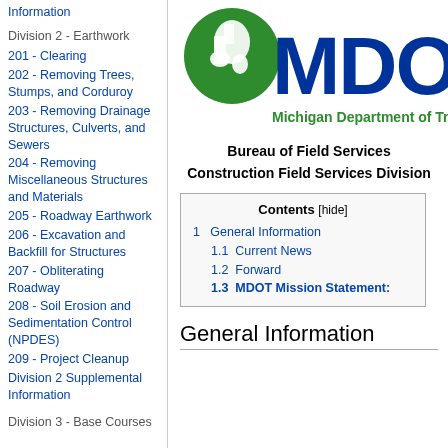Information
Division 2 - Earthwork
201 - Clearing
202 - Removing Trees, Stumps, and Corduroy
203 - Removing Drainage Structures, Culverts, and Sewers
204 - Removing Miscellaneous Structures and Materials
205 - Roadway Earthwork
206 - Excavation and Backfill for Structures
207 - Obliterating Roadway
208 - Soil Erosion and Sedimentation Control (NPDES)
209 - Project Cleanup
Division 2 Supplemental Information
Division 3 - Base Courses
[Figure (logo): MDOT logo with Michigan state outline in green and blue letters, Michigan Department of Transportation]
Bureau of Field Services
Construction Field Services Division
| Contents [hide] |
| --- |
| 1 General Information |
| 1.1 Current News |
| 1.2 Forward |
| 1.3 MDOT Mission Statement: |
General Information